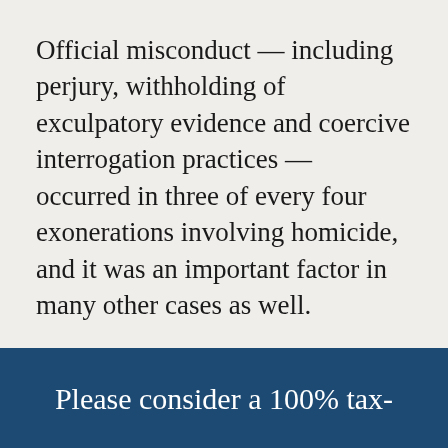Official misconduct — including perjury, withholding of exculpatory evidence and coercive interrogation practices — occurred in three of every four exonerations involving homicide, and it was an important factor in many other cases as well.
Read more: Prisoners Exonerated, Prosecutors Exposed http://nyti.ms/1R0K0Ym
Please consider a 100% tax-